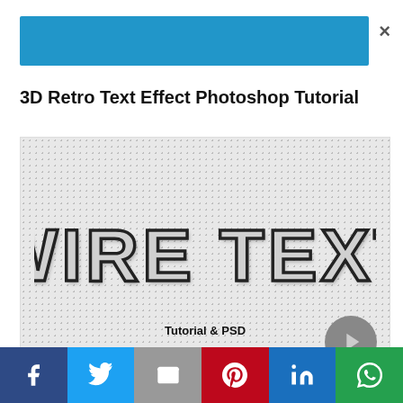[Figure (screenshot): Blue advertisement banner with close (x) button]
3D Retro Text Effect Photoshop Tutorial
[Figure (illustration): Wire text effect preview image showing WIRE TEXT on a dotted/halftone background with Tutorial & PSD label and play button]
[Figure (infographic): Social media share bar with Facebook, Twitter, Email, Pinterest, LinkedIn, WhatsApp buttons]